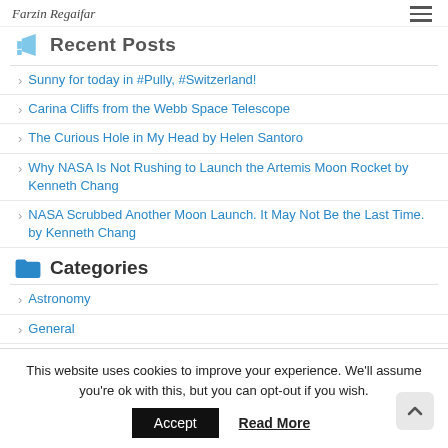Farzin Regaifar
Recent Posts
Sunny for today in #Pully, #Switzerland!
Carina Cliffs from the Webb Space Telescope
The Curious Hole in My Head by Helen Santoro
Why NASA Is Not Rushing to Launch the Artemis Moon Rocket by Kenneth Chang
NASA Scrubbed Another Moon Launch. It May Not Be the Last Time. by Kenneth Chang
Categories
Astronomy
General
This website uses cookies to improve your experience. We'll assume you're ok with this, but you can opt-out if you wish.
Accept
Read More